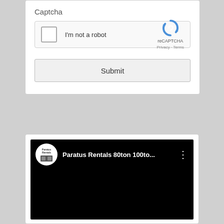Captcha
[Figure (screenshot): reCAPTCHA widget showing a checkbox, 'I'm not a robot' text, reCAPTCHA logo, Privacy and Terms links]
Submit
[Figure (screenshot): YouTube video thumbnail with Paratus Rentals channel logo and title 'Paratus Rentals 80ton 100to...' on black background]